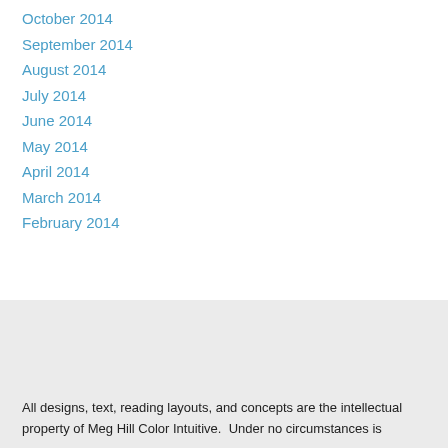October 2014
September 2014
August 2014
July 2014
June 2014
May 2014
April 2014
March 2014
February 2014
All designs, text, reading layouts, and concepts are the intellectual property of Meg Hill Color Intuitive.  Under no circumstances is